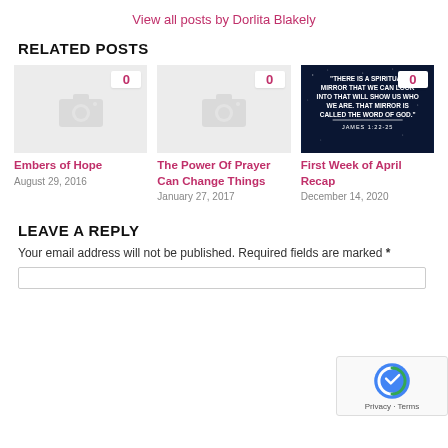View all posts by Dorlita Blakely
RELATED POSTS
[Figure (photo): Placeholder thumbnail with camera icon and comment badge showing 0]
Embers of Hope
August 29, 2016
[Figure (photo): Placeholder thumbnail with camera icon and comment badge showing 0]
The Power Of Prayer Can Change Things
January 27, 2017
[Figure (photo): Dark blue background with quote: THERE IS A SPIRITUAL MIRROR THAT WE CAN LOOK INTO THAT WILL SHOW US WHO WE ARE. THAT MIRROR IS CALLED THE WORD OF GOD. JAMES 1:22-25. Comment badge showing 0.]
First Week of April Recap
December 14, 2020
LEAVE A REPLY
Your email address will not be published. Required fields are marked *
[Figure (logo): reCAPTCHA badge with Privacy - Terms text]